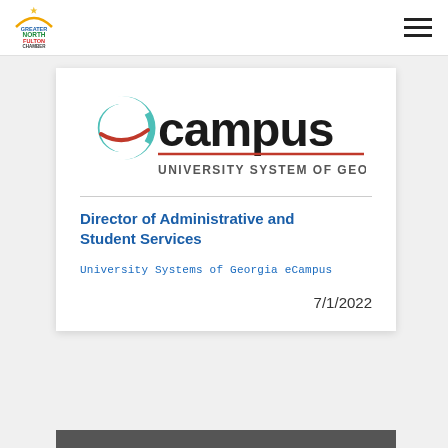[Figure (logo): Greater North Fulton Chamber logo - top left of navigation bar]
[Figure (logo): eCampus University System of Georgia logo]
Director of Administrative and Student Services
University Systems of Georgia eCampus
7/1/2022